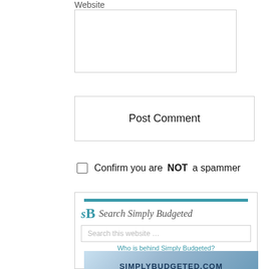Website
Post Comment
Confirm you are NOT a spammer
Search Simply Budgeted
Search this website …
Who is behind Simply Budgeted?
[Figure (logo): SimplyBudgeted.com logo image with text]